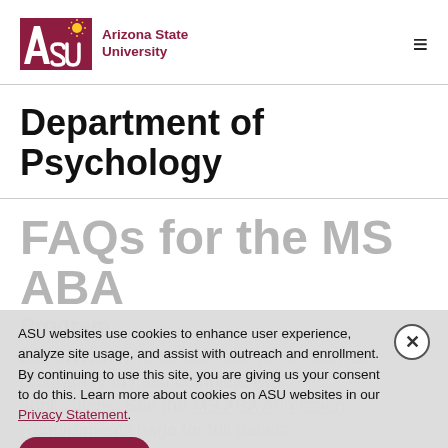ASU Arizona State University
Department of Psychology
FAQs for the MS ABA Program
IMPORTANT: To be admitted to the MS ABA program, you must complete two applications. See the MS ABA Admission Requirements page for full details.
Frequently asked questions about Psychology's MS ABA program
ASU websites use cookies to enhance user experience, analyze site usage, and assist with outreach and enrollment. By continuing to use this site, you are giving us your consent to do this. Learn more about cookies on ASU websites in our Privacy Statement.